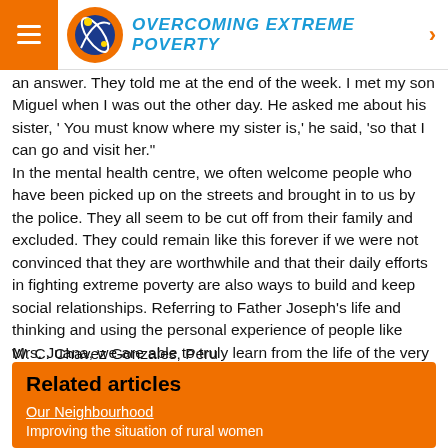OVERCOMING EXTREME POVERTY
an answer. They told me at the end of the week. I met my son Miguel when I was out the other day. He asked me about his sister, ' You must know where my sister is,' he said, 'so that I can go and visit her."
In the mental health centre, we often welcome people who have been picked up on the streets and brought in to us by the police. They all seem to be cut off from their family and excluded. They could remain like this forever if we were not convinced that they are worthwhile and that their daily efforts in fighting extreme poverty are also ways to build and keep social relationships. Referring to Father Joseph's life and thinking and using the personal experience of people like Mrs. Juana, we are able to truly learn from the life of the very poor. Thus we discover and better understand their hopes, but also their longing for support and brotherhood which we are compelled to give them.
W. C. Chavez Gonzales, Peru
Letter 39 - 1997
Related articles
Our Neighbourhood
Improving the situation of rural women